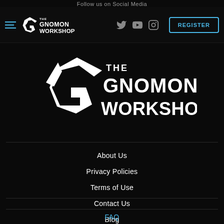Follow us on Social Media
[Figure (logo): The Gnomon Workshop logo in navigation bar with hamburger menu, social media icons (Twitter, YouTube, Instagram), and REGISTER button]
[Figure (logo): Large centered The Gnomon Workshop logo with stylized G icon]
About Us
Privacy Policies
Terms of Use
Contact Us
Blog
FAQ